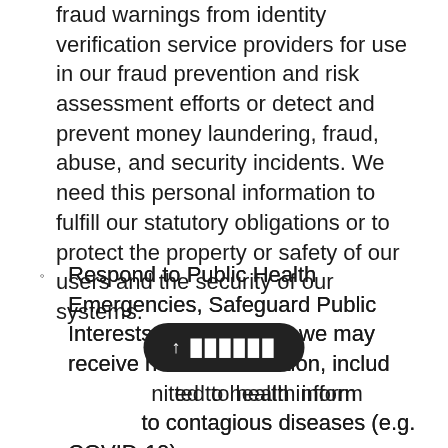fraud warnings from identity verification service providers for use in our fraud prevention and risk assessment efforts or detect and prevent money laundering, fraud, abuse, and security incidents. We need this personal information to fulfill our statutory obligations or to protect the property or safety of our users and the security of our systems.
Respond to Public Health Emergencies, Safeguard Public Interests. For example, we may receive health information, including but not limited to health information related to contagious diseases (e.g. COVID-19).